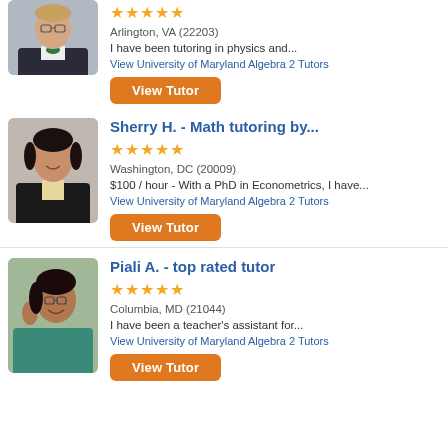[Figure (photo): Headshot of a young man in a suit with green bow tie and glasses]
Arlington, VA (22203)
I have been tutoring in physics and...
View University of Maryland Algebra 2 Tutors
View Tutor
Sherry H. - Math tutoring by...
[Figure (photo): Headshot of a woman with dark hair in professional attire]
Washington, DC (20009)
$100 / hour - With a PhD in Econometrics, I have...
View University of Maryland Algebra 2 Tutors
View Tutor
Piali A. - top rated tutor
[Figure (photo): Headshot of a woman with glasses and dark hair, smiling]
Columbia, MD (21044)
I have been a teacher's assistant for...
View University of Maryland Algebra 2 Tutors
View Tutor